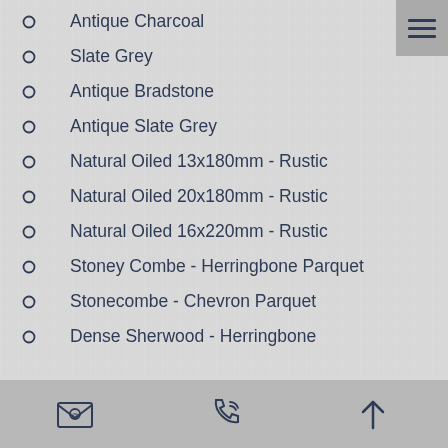Antique Charcoal
Slate Grey
Antique Bradstone
Antique Slate Grey
Natural Oiled 13x180mm - Rustic
Natural Oiled 20x180mm - Rustic
Natural Oiled 16x220mm - Rustic
Stoney Combe - Herringbone Parquet
Stonecombe - Chevron Parquet
Dense Sherwood - Herringbone
Email | Phone | Top